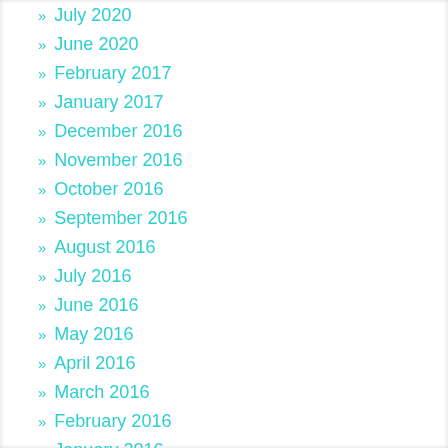» July 2020
» June 2020
» February 2017
» January 2017
» December 2016
» November 2016
» October 2016
» September 2016
» August 2016
» July 2016
» June 2016
» May 2016
» April 2016
» March 2016
» February 2016
» January 2016